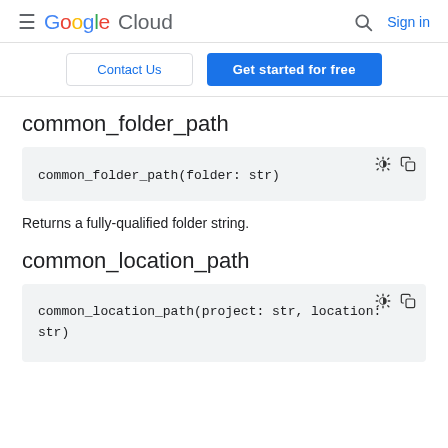Google Cloud  Sign in
Contact Us  Get started for free
common_folder_path
Returns a fully-qualified folder string.
common_location_path